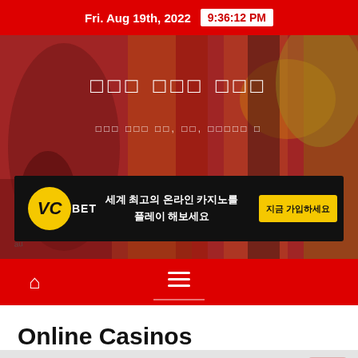Fri. Aug 19th, 2022  9:36:12 PM
[Figure (screenshot): Hero banner with abstract red/orange painting background, Korean text title and subtitle, and a VOBET casino advertisement banner]
[Figure (infographic): Navigation bar with home icon and hamburger menu on red background]
Online Casinos
[Figure (photo): Bottom gray section with pink scroll-to-top button]